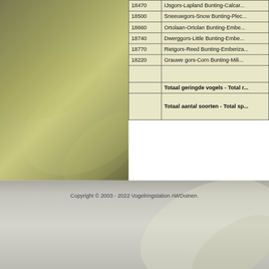| Code | Name |
| --- | --- |
| 18470 | IJsgors-Lapland Bunting-Calcar... |
| 18500 | Sneeuwgors-Snow Bunting-Plec... |
| 18660 | Ortolaan-Ortolan Bunting-Embe... |
| 18740 | Dwerggors-Little Bunting-Embe... |
| 18770 | Rietgors-Reed Bunting-Emberiza... |
| 18220 | Grauwe gors-Corn Bunting-Mili... |
|  |  |
|  | Totaal geringde vogels - Total r... |
|  | Totaal aantal soorten - Total sp... |
Copyright © 2003 - 2022 Vogelringstation AWDuinen.